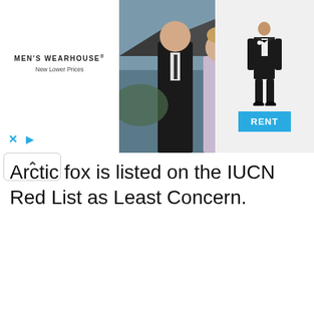[Figure (photo): Men's Wearhouse advertisement banner showing a couple in formal wear and a tuxedo rental option with a 'RENT' button]
Arctic fox is listed on the IUCN Red List as Least Concern.